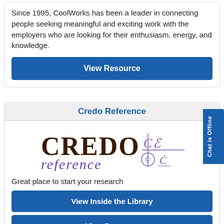Since 1995, CoolWorks has been a leader in connecting people seeking meaningful and exciting work with the employers who are looking for their enthusiasm, energy, and knowledge.
View Resource
Credo Reference
[Figure (logo): Credo Reference logo with stylized C/e symbols in purple]
Great place to start your research
View Inside the Library
View Resource